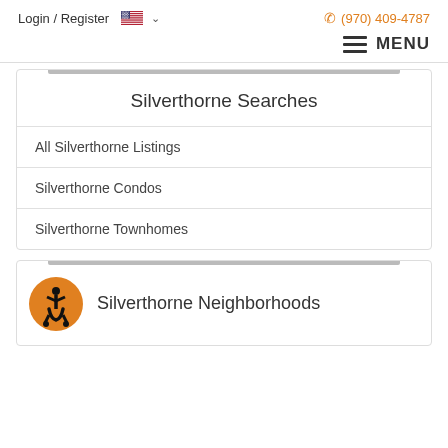Login / Register   (970) 409-4787
MENU
Silverthorne Searches
All Silverthorne Listings
Silverthorne Condos
Silverthorne Townhomes
Silverthorne Neighborhoods